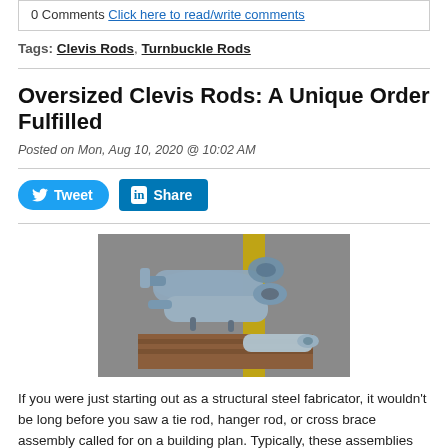0 Comments Click here to read/write comments
Tags: Clevis Rods, Turnbuckle Rods
Oversized Clevis Rods: A Unique Order Fulfilled
Posted on Mon, Aug 10, 2020 @ 10:02 AM
[Figure (photo): Photo of oversized clevis rod fittings made of galvanized steel, stacked on wooden blocks on a paved surface with a yellow line visible in the background.]
If you were just starting out as a structural steel fabricator, it wouldn't be long before you saw a tie rod, hanger rod, or cross brace assembly called for on a building plan. Typically, these assemblies are used in conjunction with a clevis,